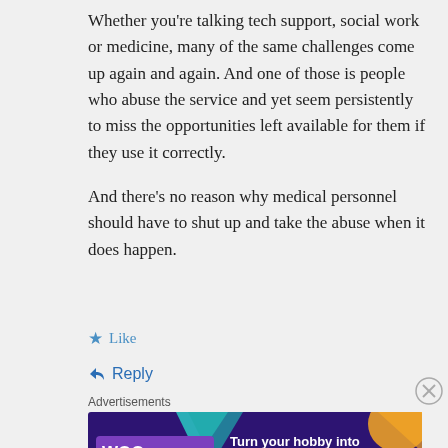Whether you're talking tech support, social work or medicine, many of the same challenges come up again and again. And one of those is people who abuse the service and yet seem persistently to miss the opportunities left available for them if they use it correctly.
And there's no reason why medical personnel should have to shut up and take the abuse when it does happen.
Like
Reply
Advertisements
[Figure (infographic): WooCommerce advertisement banner with purple background, teal and orange geometric shapes, WooCommerce logo, and text 'Turn your hobby into a business in 8 steps']